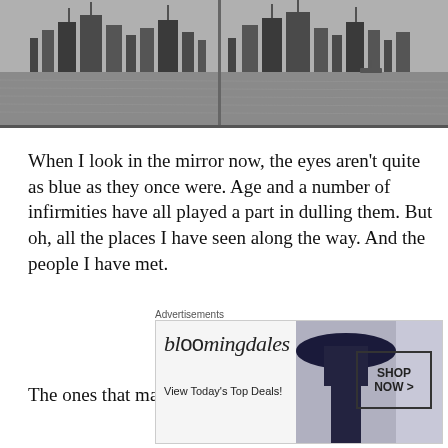[Figure (photo): Black and white photograph of a city skyline (likely New York City) seen from across water, two panels side by side]
When I look in the mirror now, the eyes aren't quite as blue as they once were. Age and a number of infirmities have all played a part in dulling them. But oh, all the places I have seen along the way. And the people I have met.
The ones that made the biggest impact were
[Figure (photo): Bloomingdale's advertisement banner: 'View Today's Top Deals!' with a woman in a large brim hat and SHOP NOW > button]